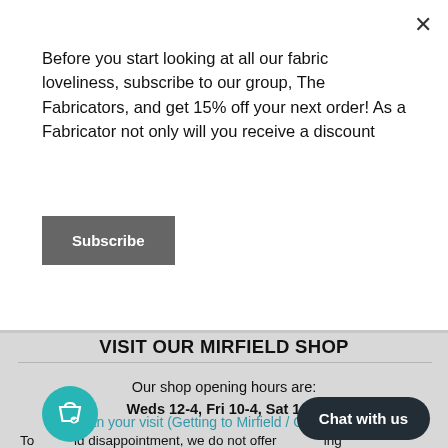Before you start looking at all our fabric loveliness, subscribe to our group, The Fabricators, and get 15% off your next order! As a Fabricator not only will you receive a discount
Subscribe
VISIT OUR MIRFIELD SHOP
Our shop opening hours are:
Weds 12-4, Fri 10-4, Sat 10-4
Plan your visit (Getting to Mirfield / Car Parking)
To avoid disappointment, we do not offer making services including alterations